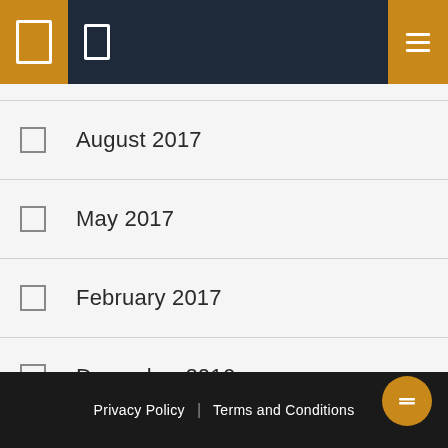[Navigation header with icons]
August 2017
May 2017
February 2017
December 2016
November 2016
September 2016
March 2016
Privacy Policy | Terms and Conditions